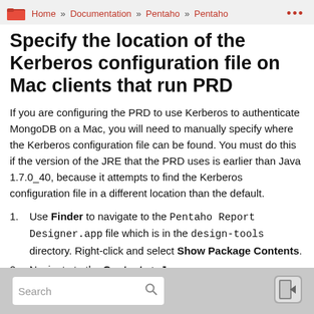Home » Documentation » Pentaho » Pentaho
Specify the location of the Kerberos configuration file on Mac clients that run PRD
If you are configuring the PRD to use Kerberos to authenticate MongoDB on a Mac, you will need to manually specify where the Kerberos configuration file can be found. You must do this if the version of the JRE that the PRD uses is earlier than Java 1.7.0_40, because it attempts to find the Kerberos configuration file in a different location than the default.
1. Use Finder to navigate to the Pentaho Report Designer.app file which is in the design-tools directory. Right-click and select Show Package Contents.
2. Navigate to the Contents > Java.
Search